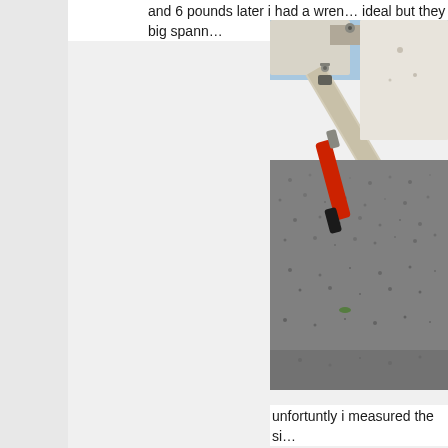and 6 pounds later i had a wren... ideal but they had no big spann...
[Figure (photo): Close-up photo of an aircraft landing gear or undercarriage component on a gravel/asphalt surface. A wrench or tool with a red and black handle is visible near the aircraft structure. The aircraft body is white with metal hardware visible.]
unfortuntly i measured the si...